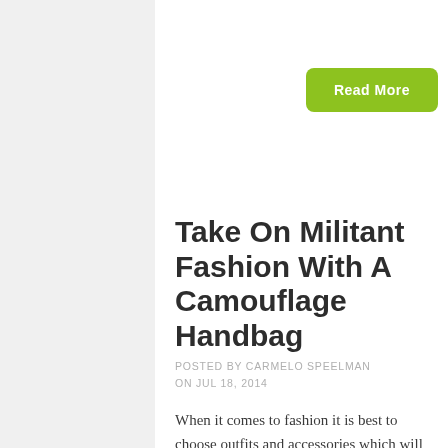Read More
Take On Militant Fashion With A Camouflage Handbag
POSTED BY CARMELO SPEELMAN ON JUL 18, 2014
When it comes to fashion it is best to choose outfits and accessories which will allow you to tastefully stand out from the crowd. This often means trying